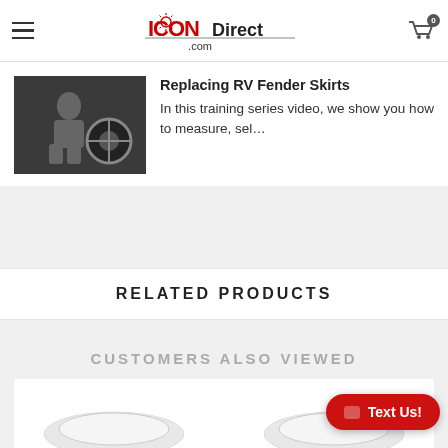ICONDirect.com
Replacing RV Fender Skirts
In this training series video, we show you how to measure, sel…
RELATED PRODUCTS
CUSTOMERS ALSO VIEWED
[Figure (screenshot): Thumbnail image of person replacing RV fender skirt, dark background]
[Figure (screenshot): Product thumbnail strip showing RV parts at bottom of page]